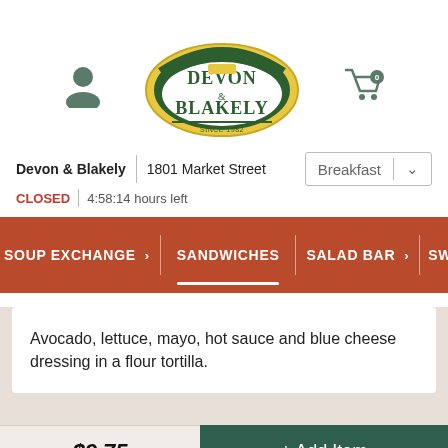[Figure (logo): Devon & Blakely restaurant logo with green and yellow oval design featuring a train illustration]
Devon & Blakely  |  1801 Market Street
CLOSED  |  4:58:14 hours left
Breakfast  ˅
SOUP EXCHANGE  >  |  SANDWICHES  |  SALAD BAR  >  |  SW
Avocado, lettuce, mayo, hot sauce and blue cheese dressing in a flour tortilla.
$9.75
+ Add Item